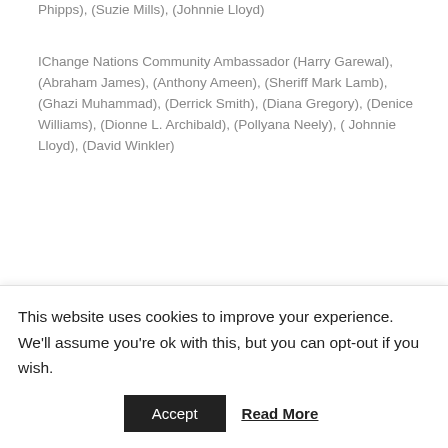Phipps), (Suzie Mills), (Johnnie Lloyd)
IChange Nations Community Ambassador (Harry Garewal), (Abraham James), (Anthony Ameen), (Sheriff Mark Lamb), (Ghazi Muhammad), (Derrick Smith), (Diana Gregory), (Denice Williams), (Dionne L. Archibald), (Pollyana Neely), ( Johnnie Lloyd), (David Winkler)
IChange Women of Global Solutions (Denise Meridith), (Tammy Phipps), (Marchelle Franklin)
Productive Business Global Agent of Change (Clarence McAllister)
This website uses cookies to improve your experience. We'll assume you're ok with this, but you can opt-out if you wish.